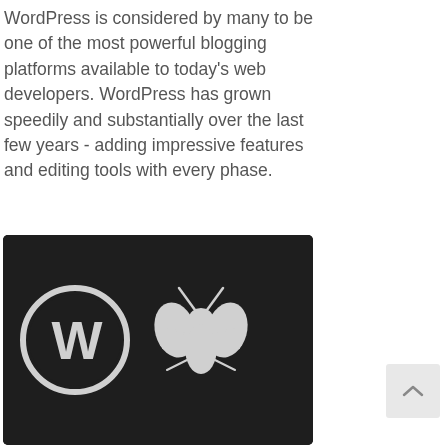WordPress is considered by many to be one of the most powerful blogging platforms available to today's web developers. WordPress has grown speedily and substantially over the last few years - adding impressive features and editing tools with every phase.
[Figure (illustration): Dark/black background image showing two white icons side by side: a WordPress logo (circle with W) and a bug/cockroach icon]